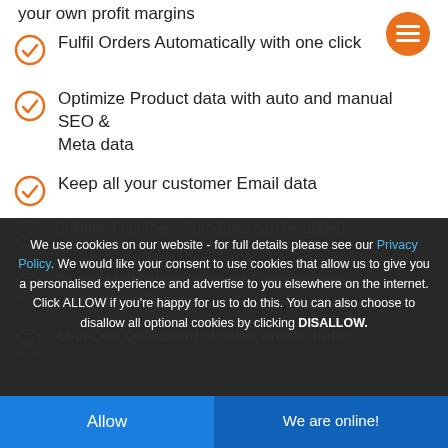your own profit margins
Fulfil Orders Automatically with one click
Optimize Product data with auto and manual SEO & Meta data
Keep all your customer Email data
Get Live Traffic and Sales Statistics
Product Data, image and SEO Customization
We use cookies on our website - for full details please see our Privacy Policy. We would like your consent to use cookies that allow us to give you a personalised experience and advertise to you elsewhere on the internet. Click ALLOW if you're happy for us to do this. You can also choose to disallow all optional cookies by clicking DISALLOW.